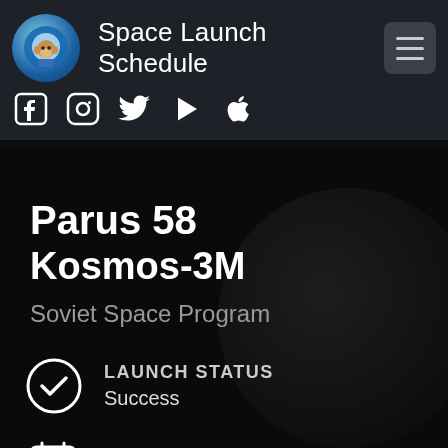Space Launch Schedule
[Figure (logo): Space Launch Schedule app logo — cartoon monkey in space helmet on blue background]
Parus 58
Kosmos-3M
Soviet Space Program
LAUNCH STATUS
Success
Wed, Feb 18th, 1987